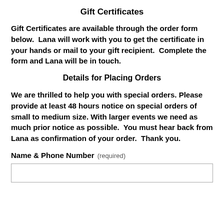Gift Certificates
Gift Certificates are available through the order form below.  Lana will work with you to get the certificate in your hands or mail to your gift recipient.  Complete the form and Lana will be in touch.
Details for Placing Orders
We are thrilled to help you with special orders. Please provide at least 48 hours notice on special orders of small to medium size. With larger events we need as much prior notice as possible.  You must hear back from Lana as confirmation of your order.  Thank you.
Name & Phone Number  (required)
[Figure (other): Empty text input box for Name & Phone Number]